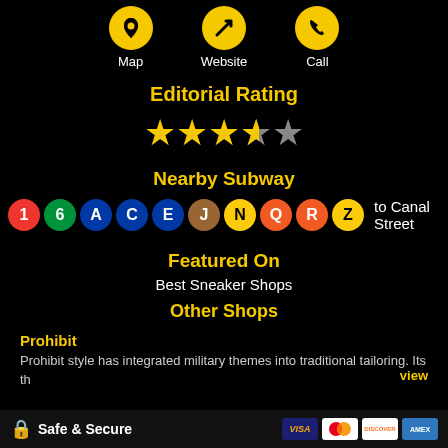[Figure (infographic): Three yellow circular icons: Map (location pin), Website (arrow/direction), Call (phone), with white labels below each]
Editorial Rating
[Figure (infographic): Star rating: 3.5 out of 5 stars, with 3 full gold stars, 1 half gold star, and 1 grey star]
Nearby Subway
[Figure (infographic): NYC subway line badges: 1 (red), 6 (green), A (blue), C (blue), E (blue), J (brown), N (yellow), Q (orange), R (orange), Z (yellow), labeled 'to Canal Street']
Featured On
Best Sneaker Shops
Other Shops
Prohibit
Prohibit style has integrated military themes into traditional tailoring. Its th
view
Safe & Secure  [Visa] [Mastercard] [Discover] [Amex]